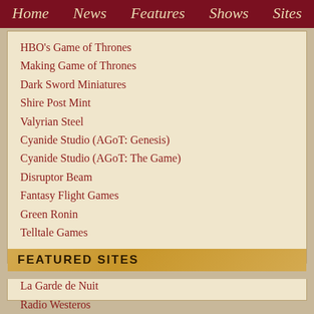Home  News  Features  Shows  Sites
HBO's Game of Thrones
Making Game of Thrones
Dark Sword Miniatures
Shire Post Mint
Valyrian Steel
Cyanide Studio (AGoT: Genesis)
Cyanide Studio (AGoT: The Game)
Disruptor Beam
Fantasy Flight Games
Green Ronin
Telltale Games
FEATURED SITES
La Garde de Nuit
Radio Westeros
Le Cronache del Ghiaccio e del Fuoco - Wiki
History of Westeros Podcast
Tulen ja jään laulu
La Barriera